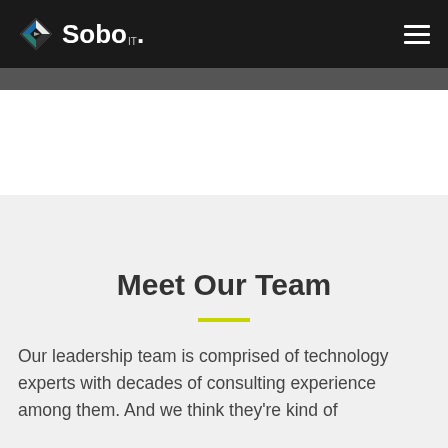Sobo IT
Meet Our Team
Our leadership team is comprised of technology experts with decades of consulting experience among them. And we think they're kind of